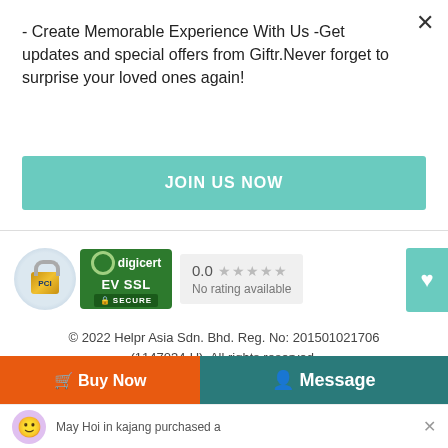- Create Memorable Experience With Us -Get updates and special offers from Giftr.Never forget to surprise your loved ones again!
JOIN US NOW
[Figure (logo): PCI padlock badge, DigiCert EV SSL Secure badge, and a rating box showing 0.0 stars with text 'No rating available']
© 2022 Helpr Asia Sdn. Bhd. Reg. No: 201501021706 (1147034-U). All rights reserved.
[Figure (logo): Payment method logos: American Express, Discover, MasterCard, Visa]
[Figure (logo): Bank payment logos: maybank2u.com, CIMB Clicks, RHB Now, Boost, connect, FPX, PayPal]
Buy Now
Message
May Hoi in kajang purchased a